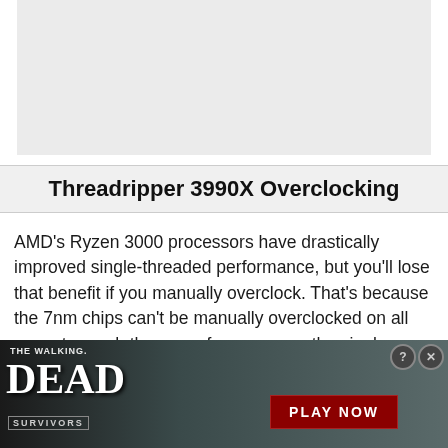[Figure (other): Gray placeholder image area at the top of the page]
Threadripper 3990X Overclocking
AMD's Ryzen 3000 processors have drastically improved single-threaded performance, but you'll lose that benefit if you manually overclock. That's because the 7nm chips can't be manually overclocked on all cores to reach the same frequency as the single-core boost frequency. In fact, the all-core
[Figure (illustration): The Walking Dead: Survivors game advertisement banner with dark zombie-themed imagery, 'PLAY NOW' red button, and close/help icons]